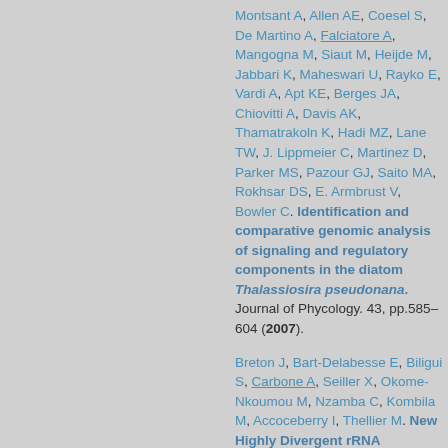Montsant A, Allen AE, Coesel S, De Martino A, Falciatore A, Mangogna M, Siaut M, Heijde M, Jabbari K, Maheswari U, Rayko E, Vardi A, Apt KE, Berges JA, Chiovitti A, Davis AK, Thamatrakoln K, Hadi MZ, Lane TW, J. Lippmeier C, Martinez D, Parker MS, Pazour GJ, Saito MA, Rokhsar DS, E. Armbrust V, Bowler C. Identification and comparative genomic analysis of signaling and regulatory components in the diatom Thalassiosira pseudonana. Journal of Phycology. 43, pp.585–604 (2007).
Breton J, Bart-Delabesse E, Biligui S, Carbone A, Seiller X, Okome-Nkoumou M, Nzamba C, Kombila M, Accoceberry I, Thellier M. New Highly Divergent rRNA Sequence among Biodiverse Genotypes of Enterocytozoon bieneusi Strains Isolated from Humans in Gabon and Cameroon. Journal of Clinical Microbiology. 45, pp.2580-2589 (2007).
Cosentino Lagomarsino M,